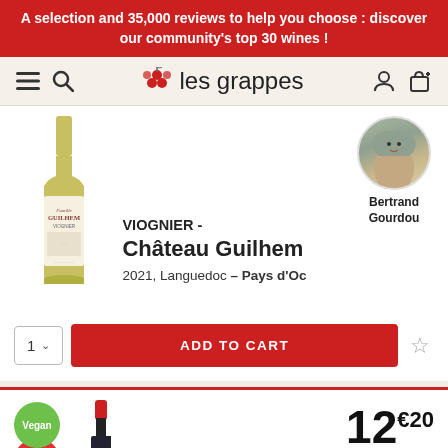A selection and 35,000 reviews to help you choose : discover our community's top 30 wines !
[Figure (logo): les grappes wine marketplace logo with hamburger menu, search icon, grape icon, user icon, and cart icon]
[Figure (photo): White wine bottle - Famille Guilhem Viognier, Château Guilhem label with black and white illustration]
[Figure (photo): Circular portrait photo of Bertrand Gourdou, sommelier]
VIOGNIER - Château Guilhem
2021, Languedoc – Pays d'Oc
1 ∨  ADD TO CART ☆
[Figure (photo): Red wine bottle, partially visible]
Vegan
12€20